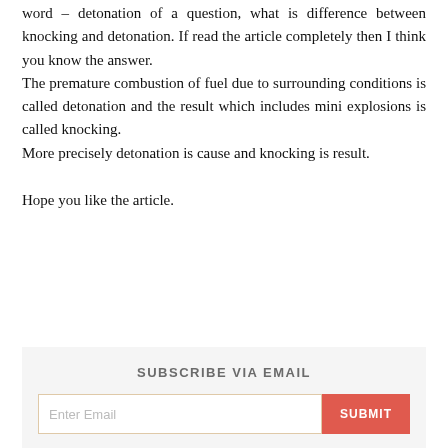word – detonation of a question, what is difference between knocking and detonation. If read the article completely then I think you know the answer.
The premature combustion of fuel due to surrounding conditions is called detonation and the result which includes mini explosions is called knocking.
More precisely detonation is cause and knocking is result.
Hope you like the article.
SUBSCRIBE VIA EMAIL
Enter Email
SUBMIT